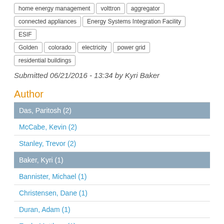home energy management
volttron
aggregator
connected appliances
Energy Systems Integration Facility
ESIF
Golden
colorado
electricity
power grid
residential buildings
Submitted 06/21/2016 - 13:34 by Kyri Baker
Author
Das, Paritosh (2)
McCabe, Kevin (2)
Stanley, Trevor (2)
Baker, Kyri (1)
Bannister, Michael (1)
Christensen, Dane (1)
Duran, Adam (1)
Eash, Matthew (1)
Egan, Hilary (1)